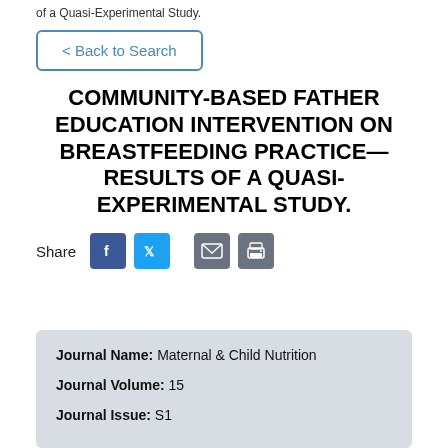of a Quasi-Experimental Study.
< Back to Search
COMMUNITY-BASED FATHER EDUCATION INTERVENTION ON BREASTFEEDING PRACTICE—RESULTS OF A QUASI-EXPERIMENTAL STUDY.
Share
| Journal Name | Journal Volume | Journal Issue |
| --- | --- | --- |
| Maternal & Child Nutrition | 15 | S1 |